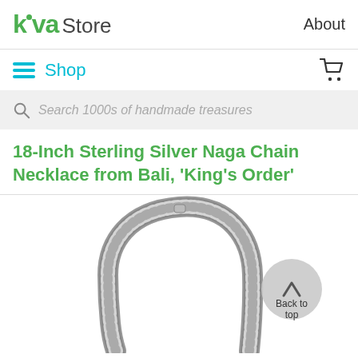kiva Store | About
Shop
Search 1000s of handmade treasures
18-Inch Sterling Silver Naga Chain Necklace from Bali, 'King's Order'
[Figure (photo): Sterling silver Naga chain necklace on white background, showing the woven/braided pattern of the chain in an arch/loop shape. A 'Back to top' button with upward arrow is overlaid in the bottom right.]